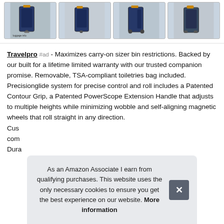[Figure (photo): Four thumbnail images of Travelpro luggage/carry-on suitcases shown from different angles]
Travelpro #ad - Maximizes carry-on sizer bin restrictions. Backed by our built for a lifetime limited warranty with our trusted companion promise. Removable, TSA-compliant toiletries bag included. Precisionglide system for precise control and roll includes a Patented Contour Grip, a Patented PowerScope Extension Handle that adjusts to multiple heights while minimizing wobble and self-aligning magnetic wheels that roll straight in any direction.
Cus... com... Dura...
As an Amazon Associate I earn from qualifying purchases. This website uses the only necessary cookies to ensure you get the best experience on our website. More information